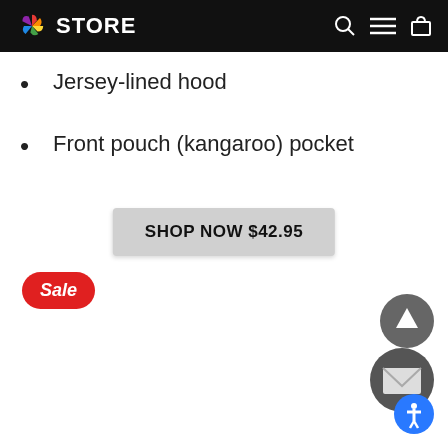NBC STORE
Jersey-lined hood
Front pouch (kangaroo) pocket
SHOP NOW $42.95
Sale
[Figure (illustration): Scroll to top circular button with upward arrow]
[Figure (illustration): Email/mail circular dark button with envelope icon]
[Figure (illustration): Accessibility circular blue button with person icon]